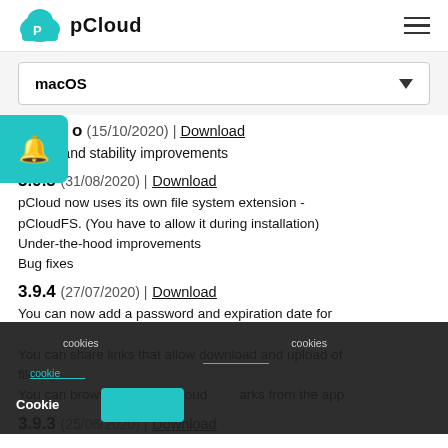pCloud
macOS
o (15/10/2020) | Download
g fixes and stability improvements
3.9.5 (31/08/2020) | Download
pCloud now uses its own file system extension - pCloudFS. (You have to allow it during installation)
Under-the-hood improvements
Bug fixes
3.9.4 (27/07/2020) | Download
You can now add a password and expiration date for
You can share links that allow download and upload of files
You can browse all your pCloud marks from the app
3.9.3 (25/06/2020) | Download
cookies cookie